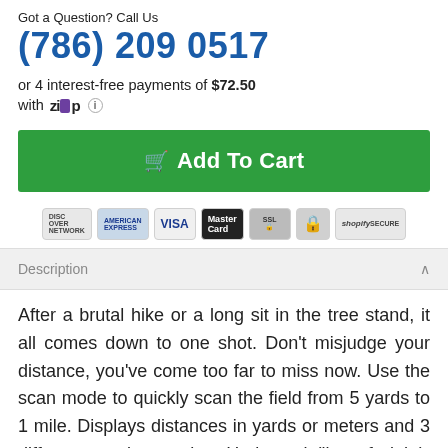Got a Question? Call Us
(786) 209 0517
or 4 interest-free payments of $72.50
with ZIP ⓘ
🛒 Add To Cart
[Figure (other): Payment method badges: Discover, American Express, Visa, MasterCard, SSL, Lock, Shopify Secure]
Description
After a brutal hike or a long sit in the tree stand, it all comes down to one shot. Don't misjudge your distance, you've come too far to miss now. Use the scan mode to quickly scan the field from 5 yards to 1 mile. Displays distances in yards or meters and 3 different ranging modes: Horizontal (line of sight), Vertical and Angle compensated